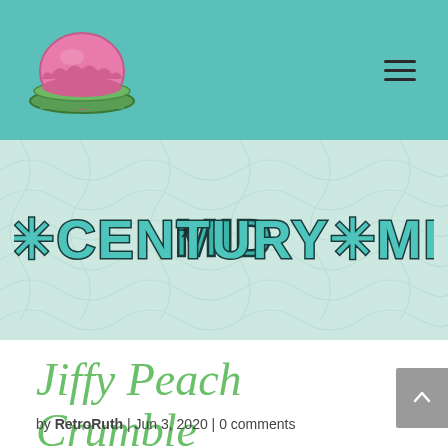[Figure (logo): Jello mold logo — pink dome dessert on a green plate, cartoon style, teal background navigation bar]
[Figure (logo): Mid-Century Menu logo text in teal retro lettering with starburst asterisks between words, on a mint/light green background with abstract line pattern]
Jiffy Peach Crumble
by RetroRuth | Jun 3, 2020 | 0 comments